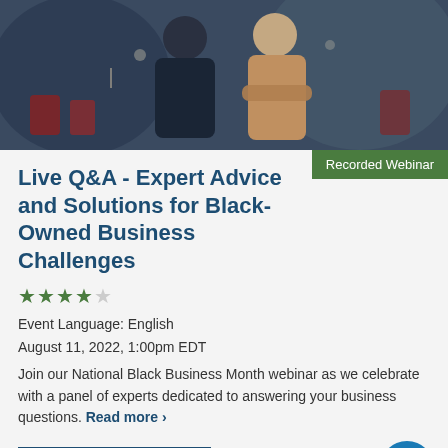[Figure (photo): Two people (restaurant/business owners) standing in a restaurant setting, one in a dark sweater and one in a beige/tan top with arms crossed]
Recorded Webinar
Live Q&A - Expert Advice and Solutions for Black-Owned Business Challenges
★★★★☆
Event Language: English
August 11, 2022, 1:00pm EDT
Join our National Black Business Month webinar as we celebrate with a panel of experts dedicated to answering your business questions. Read more >
View Webinar ▶
[Figure (photo): Partial bottom image with a red element visible, appears to be another webinar or event card below]